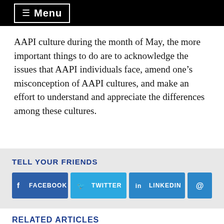≡ Menu
AAPI culture during the month of May, the more important things to do are to acknowledge the issues that AAPI individuals face, amend one's misconception of AAPI cultures, and make an effort to understand and appreciate the differences among these cultures.
TELL YOUR FRIENDS
[Figure (infographic): Social sharing buttons: Facebook, Twitter, LinkedIn, and Email (@)]
RELATED ARTICLES
[Figure (photo): Partial image of related article, showing wooden or geometric shapes]